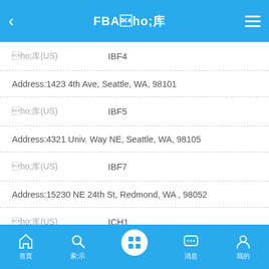FBA仓库
仓库(US)    IBF4
Address:1423 4th Ave, Seattle, WA, 98101
仓库(US)    IBF5
Address:4321 Univ. Way NE, Seattle, WA, 98105
仓库(US)    IBF7
Address:15230 NE 24th St, Redmond, WA , 98052
仓库(US)    ICH1
Address:135 S LaSalle St., Chicago, IL, 60603
仓库(US)    ICH2
首页  搜索  (center)  消息  我的